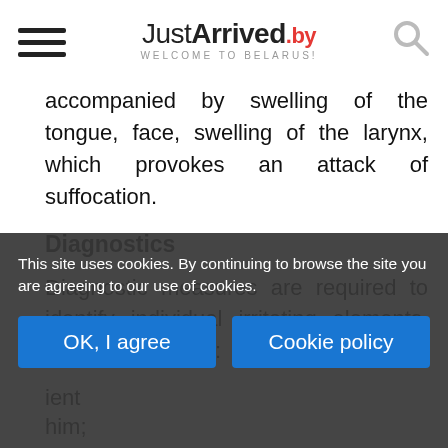JustArrived.by — Welcome to Belarus!
accompanied by swelling of the tongue, face, swelling of the larynx, which provokes an attack of suffocation.
Diagnostics
Diagnostic measures are required to identify individual irritating elements, for this the doctor:
ient
him;
This site uses cookies. By continuing to browse the site you are agreeing to our use of cookies.
OK, I agree
Cookie policy